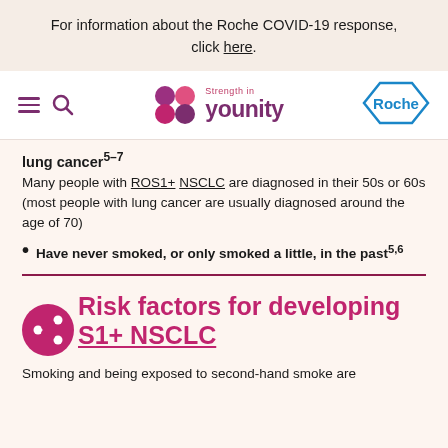For information about the Roche COVID-19 response, click here.
[Figure (logo): Strength in younity logo with colored circles and Roche hexagon badge navigation bar]
lung cancer⁻⁷
Many people with ROS1+ NSCLC are diagnosed in their 50s or 60s (most people with lung cancer are usually diagnosed around the age of 70)
Have never smoked, or only smoked a little, in the past⁵ˇ⁶
Risk factors for developing S1+ NSCLC
Smoking and being exposed to second-hand smoke are